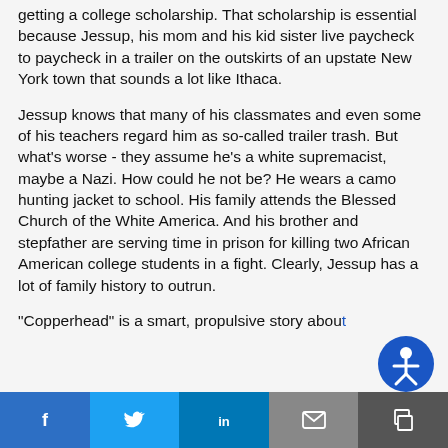getting a college scholarship. That scholarship is essential because Jessup, his mom and his kid sister live paycheck to paycheck in a trailer on the outskirts of an upstate New York town that sounds a lot like Ithaca.
Jessup knows that many of his classmates and even some of his teachers regard him as so-called trailer trash. But what's worse - they assume he's a white supremacist, maybe a Nazi. How could he not be? He wears a camo hunting jacket to school. His family attends the Blessed Church of the White America. And his brother and stepfather are serving time in prison for killing two African American college students in a fight. Clearly, Jessup has a lot of family history to outrun.
"Copperhead" is a smart, propulsive story about
[Figure (other): Social share bar with Facebook, Twitter, LinkedIn, Email, and Copy/Print buttons, plus a blue circular accessibility icon]